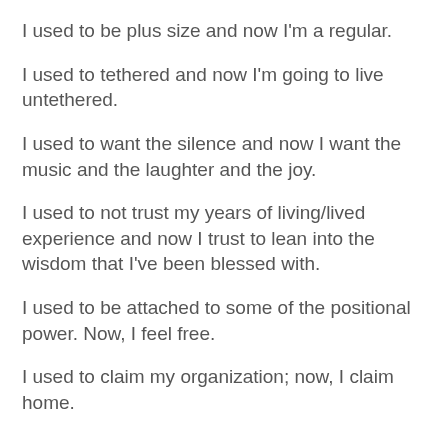I used to be plus size and now I'm a regular.
I used to tethered and now I'm going to live untethered.
I used to want the silence and now I want the music and the laughter and the joy.
I used to not trust my years of living/lived experience and now I trust to lean into the wisdom that I've been blessed with.
I used to be attached to some of the positional power. Now, I feel free.
I used to claim my organization; now, I claim home.